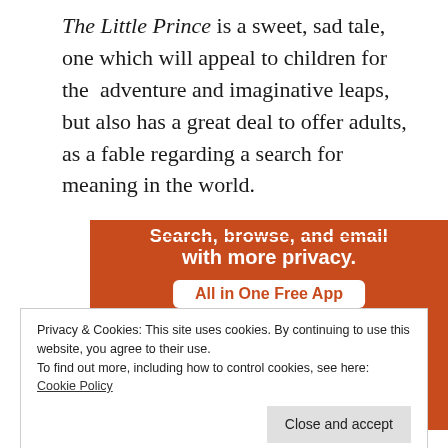The Little Prince is a sweet, sad tale, one which will appeal to children for the adventure and imaginative leaps, but also has a great deal to offer adults, as a fable regarding a search for meaning in the world.
[Figure (screenshot): DuckDuckGo advertisement on an orange background showing a smartphone with DuckDuckGo logo. Text reads: Search, browse, and email with more privacy. All in One Free App.]
Privacy & Cookies: This site uses cookies. By continuing to use this website, you agree to their use.
To find out more, including how to control cookies, see here: Cookie Policy
"You can only see things clearly with your heart
Close and accept